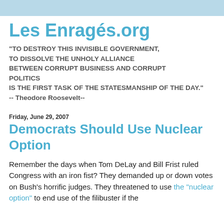Les Enragés.org
"TO DESTROY THIS INVISIBLE GOVERNMENT, TO DISSOLVE THE UNHOLY ALLIANCE BETWEEN CORRUPT BUSINESS AND CORRUPT POLITICS IS THE FIRST TASK OF THE STATESMANSHIP OF THE DAY."
-- Theodore Roosevelt--
Friday, June 29, 2007
Democrats Should Use Nuclear Option
Remember the days when Tom DeLay and Bill Frist ruled Congress with an iron fist? They demanded up or down votes on Bush's horrific judges. They threatened to use the "nuclear option" to end use of the filibuster if the